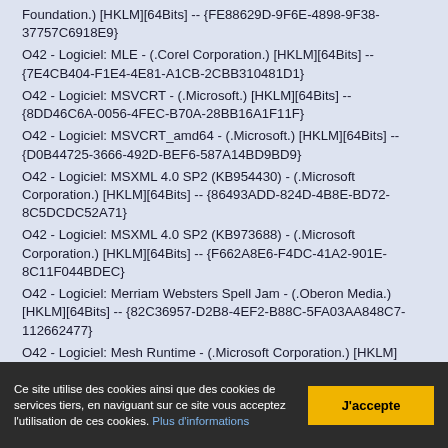Foundation.) [HKLM][64Bits] -- {FE88629D-9F6E-4898-9F38-37757C6918E9}
O42 - Logiciel: MLE - (.Corel Corporation.) [HKLM][64Bits] -- {7E4CB404-F1E4-4E81-A1CB-2CBB310481D1}
O42 - Logiciel: MSVCRT - (.Microsoft.) [HKLM][64Bits] -- {8DD46C6A-0056-4FEC-B70A-28BB16A1F11F}
O42 - Logiciel: MSVCRT_amd64 - (.Microsoft.) [HKLM][64Bits] -- {D0B44725-3666-492D-BEF6-587A14BD9BD9}
O42 - Logiciel: MSXML 4.0 SP2 (KB954430) - (.Microsoft Corporation.) [HKLM][64Bits] -- {86493ADD-824D-4B8E-BD72-8C5DCDC52A71}
O42 - Logiciel: MSXML 4.0 SP2 (KB973688) - (.Microsoft Corporation.) [HKLM][64Bits] -- {F662A8E6-F4DC-41A2-901E-8C11F044BDEC}
O42 - Logiciel: Merriam Websters Spell Jam - (.Oberon Media.) [HKLM][64Bits] -- {82C36957-D2B8-4EF2-B88C-5FA03AA848C7-112662477}
O42 - Logiciel: Mesh Runtime - (.Microsoft Corporation.) [HKLM][64Bits] -- {8C6D6116-B724-4810-8F2D-D047E6B7D68E}
Ce site utilise des cookies ainsi que des cookies de services tiers, en naviguant sur ce site vous acceptez l'utilisation de ces cookies. Plus d'informations
J'accepte